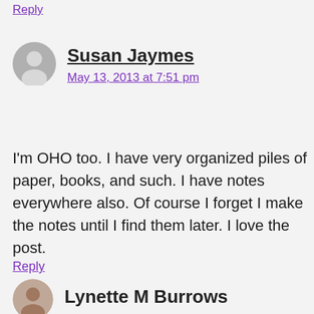Reply
Susan Jaymes
May 13, 2013 at 7:51 pm
I'm OHO too. I have very organized piles of paper, books, and such. I have notes everywhere also. Of course I forget I make the notes until I find them later. I love the post.
Reply
Lynette M Burrows